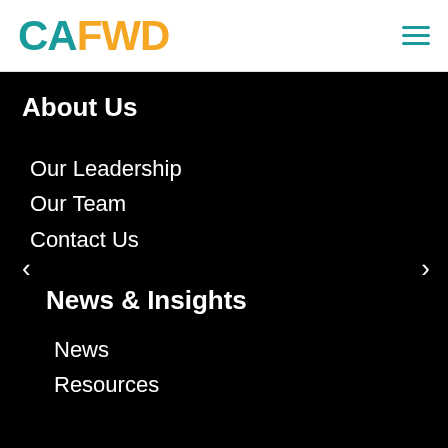CAFWD
About Us
Our Leadership
Our Team
Contact Us
News & Insights
News
Resources
Our Work
CA Stakeholder Network